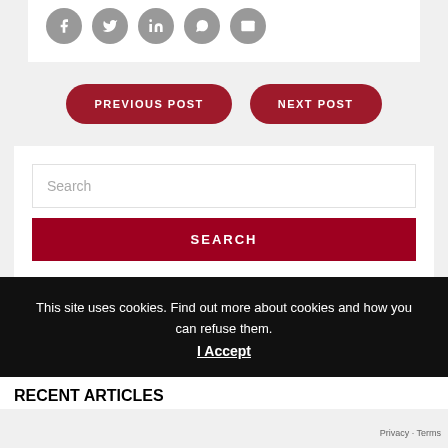[Figure (other): Social share icons: Facebook, Twitter, LinkedIn, WhatsApp, Email — grey circular buttons]
PREVIOUS POST
NEXT POST
Search
SEARCH
This site uses cookies. Find out more about cookies and how you can refuse them.
I Accept
RECENT ARTICLES
Privacy · Terms